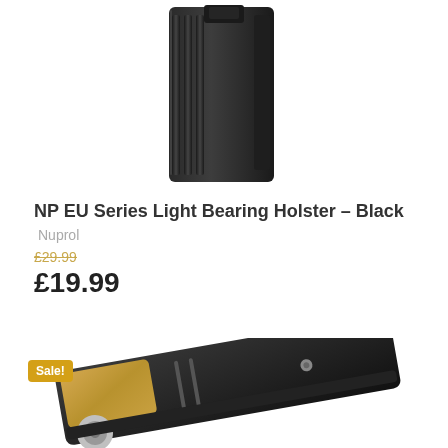[Figure (photo): Close-up photo of a black polymer pistol holster (NP EU Series Light Bearing Holster) viewed from the side, showing ribbed texture. White background.]
NP EU Series Light Bearing Holster – Black
Nuprol
£29.99
£19.99
[Figure (photo): Partial photo of a black holster with a pistol inserted, showing golden/metallic parts. A yellow 'Sale!' badge is visible in the top-left corner.]